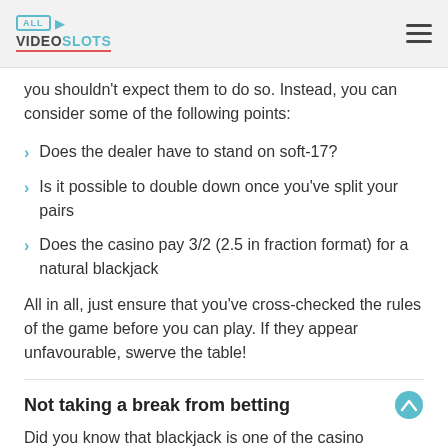ALL VIDEOSLOTS
you shouldn't expect them to do so. Instead, you can consider some of the following points:
Does the dealer have to stand on soft-17?
Is it possible to double down once you've split your pairs
Does the casino pay 3/2 (2.5 in fraction format) for a natural blackjack
All in all, just ensure that you've cross-checked the rules of the game before you can play. If they appear unfavourable, swerve the table!
Not taking a break from betting
Did you know that blackjack is one of the casino